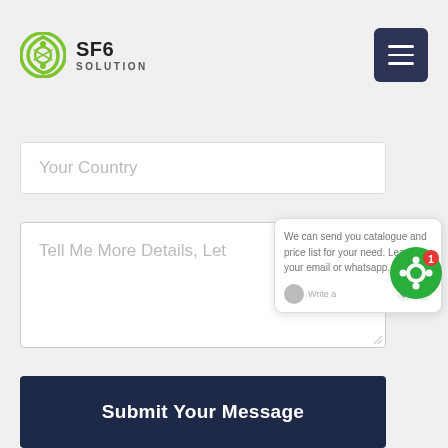SF6 SOLUTION
Your Country
Tell Me More Details, Let
We can send you catalogue and price list for your need. Leave us your email or whatsapp. Write a ...
Submit Your Message